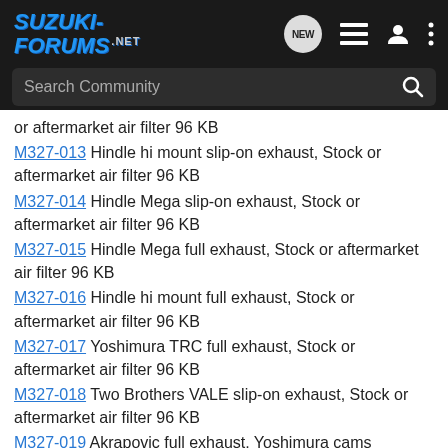SUZUKI-FORUMS.NET | Search Community
or aftermarket air filter 96 KB
M327-013 Hindle hi mount slip-on exhaust, Stock or aftermarket air filter 96 KB
M327-014 Hindle Mega slip-on exhaust, Stock or aftermarket air filter 96 KB
M327-015 Hindle Mega full exhaust, Stock or aftermarket air filter 96 KB
M327-016 Hindle hi mount full exhaust, Stock or aftermarket air filter 96 KB
M327-017 Yoshimura TRC full exhaust, Stock or aftermarket air filter 96 KB
M327-018 Two Brothers VALE slip-on exhaust, Stock or aftermarket air filter 96 KB
M327-019 Akrapovic full exhaust, Yoshimura cams degreed 105/109, Suzuki kit head gasket, Stock or aftermarket air filter